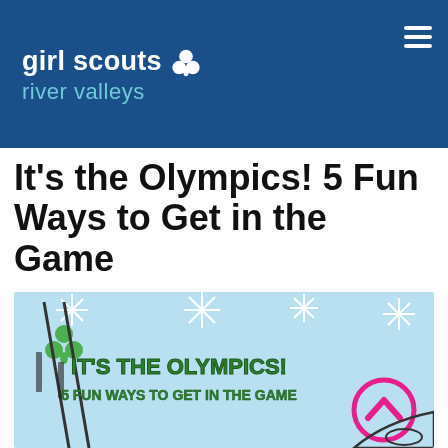[Figure (logo): Girl Scouts River Valleys logo with trefoil clover symbol on dark blue background header with hamburger menu icon]
It's the Olympics! 5 Fun Ways to Get in the Game
[Figure (illustration): Winter Olympics themed illustration with light blue background showing snowflakes, a Girl Scout trefoil, ski equipment, and text 'IT'S THE OLYMPICS! 5 FUN WAYS TO GET IN THE GAME' with a pink circle chevron/up-arrow button overlaid]